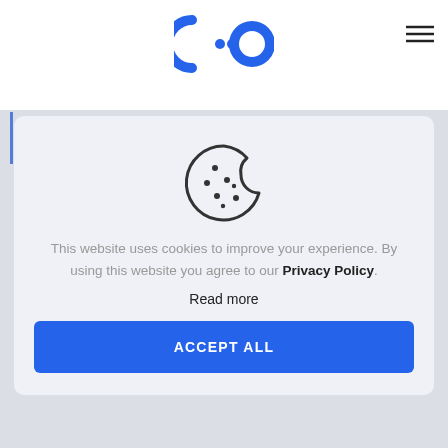[Figure (logo): C:O logo in blue, circular letter forms]
[Figure (illustration): Hamburger menu icon, three horizontal lines, dark]
Arpa Sutipatanasomboon is a research scientist based in the Bangkok
[Figure (illustration): Cookie icon: circle with a bite taken out, dark outline, small dots]
This website uses cookies to improve your experience. By using this website you agree to our Privacy Policy.
Read more
ACCEPT ALL